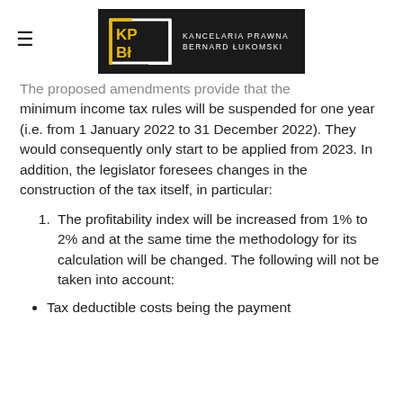KP Bł — Kancelaria Prawna Bernard Łukomski (logo)
The proposed amendments provide that the minimum income tax rules will be suspended for one year (i.e. from 1 January 2022 to 31 December 2022). They would consequently only start to be applied from 2023. In addition, the legislator foresees changes in the construction of the tax itself, in particular:
1. The profitability index will be increased from 1% to 2% and at the same time the methodology for its calculation will be changed. The following will not be taken into account:
Tax deductible costs being the payment